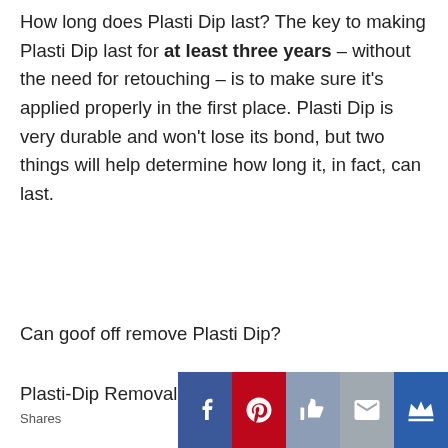How long does Plasti Dip last? The key to making Plasti Dip last for at least three years – without the need for retouching – is to make sure it's applied properly in the first place. Plasti Dip is very durable and won't lose its bond, but two things will help determine how long it, in fact, can last.
Can goof off remove Plasti Dip?
Plasti-Dip Removal Using Goof Off (So
[Figure (infographic): Social sharing bar with Shares label and five buttons: Facebook (blue), Pinterest (red), Like/thumbs-up (steel blue), Email (gray), Crown (dark blue)]